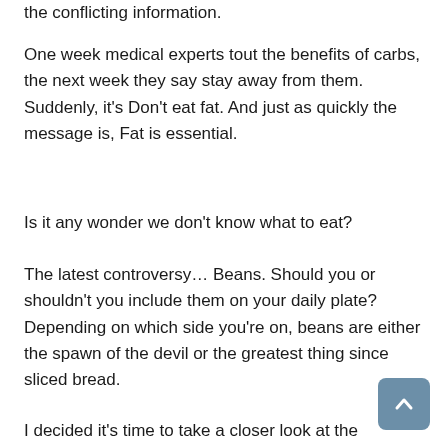the conflicting information.
One week medical experts tout the benefits of carbs, the next week they say stay away from them. Suddenly, it's Don't eat fat. And just as quickly the message is, Fat is essential.
Is it any wonder we don't know what to eat?
The latest controversy… Beans. Should you or shouldn't you include them on your daily plate? Depending on which side you're on, beans are either the spawn of the devil or the greatest thing since sliced bread.
I decided it's time to take a closer look at the